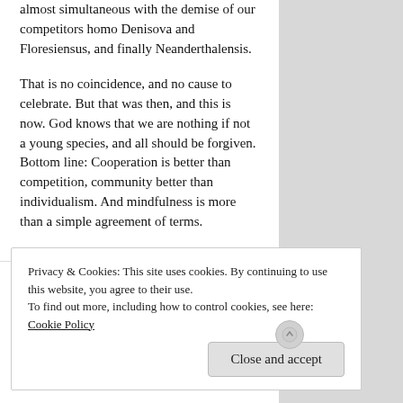almost simultaneous with the demise of our competitors homo Denisova and Floresiensus, and finally Neanderthalensis.
That is no coincidence, and no cause to celebrate. But that was then, and this is now. God knows that we are nothing if not a young species, and all should be forgiven. Bottom line: Cooperation is better than competition, community better than individualism. And mindfulness is more than a simple agreement of terms.
hardie karges
6:07 pm on August 23, 2020
True love doesn't grasp or cling. True love embraces all and claims nothing. But this is a huge subject, of course, and it's always good to define
Privacy & Cookies: This site uses cookies. By continuing to use this website, you agree to their use.
To find out more, including how to control cookies, see here: Cookie Policy
Close and accept